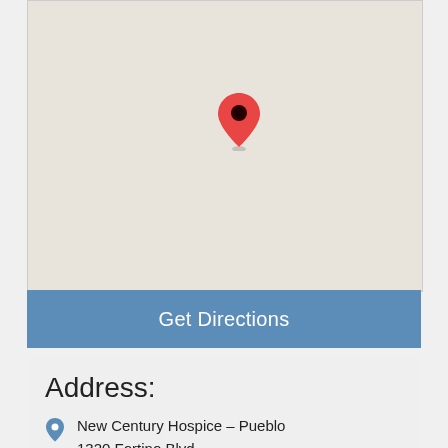[Figure (map): Google Maps-style grey map with a red location pin marker centered slightly left of middle]
Get Directions
Address:
New Century Hospice – Pueblo
1320 Fortino Blvd
Ste C